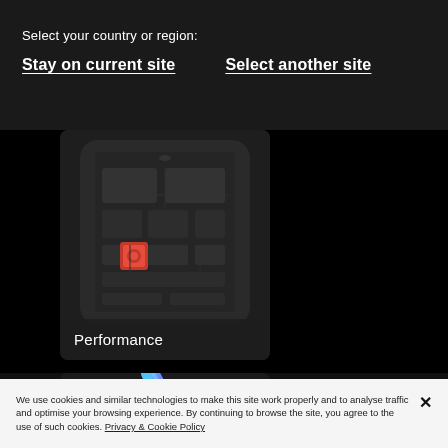Select your country or region:
Stay on current site    Select another site
[Figure (screenshot): Smartphone internals showing circuit board with Qualcomm Snapdragon chip (red logo), with a dark label overlay reading 'Performance']
[Figure (photo): Partial view of a stylus / S Pen with blue metallic gradient on dark background]
We use cookies and similar technologies to make this site work properly and to analyse traffic and optimise your browsing experience. By continuing to browse the site, you agree to the use of such cookies. Privacy & Cookie Policy